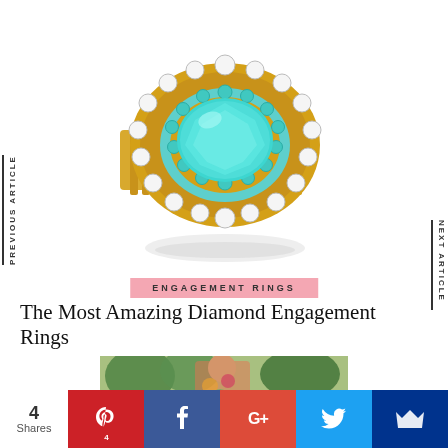[Figure (photo): A luxurious gold engagement ring featuring a large oval turquoise/aqua gemstone center, surrounded by two halos of smaller diamonds and turquoise stones, with a diamond-encrusted split shank band, photographed on white background with reflection below.]
PREVIOUS ARTICLE
NEXT ARTICLE
ENGAGEMENT RINGS
The Most Amazing Diamond Engagement Rings
[Figure (photo): Partial photo of a woman wearing a colorful floral outfit outdoors.]
4
Shares
p 4
f
G+
Twitter bird icon
Crown icon